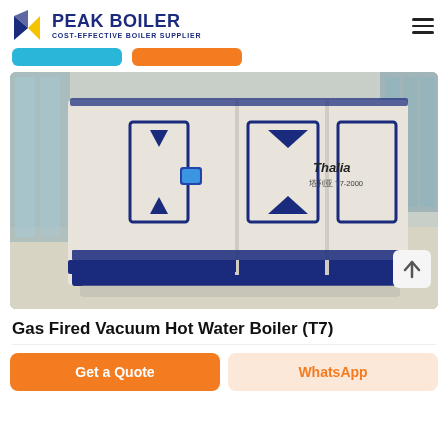PEAK BOILER — COST-EFFECTIVE BOILER SUPPLIER
[Figure (photo): Large white and blue gas fired vacuum hot water boiler unit (Thalia T7-2000) displayed in an industrial showroom setting, with blue accent stripes and decorative door/panel features.]
Gas Fired Vacuum Hot Water Boiler (T7)
Get a Quote
WhatsApp